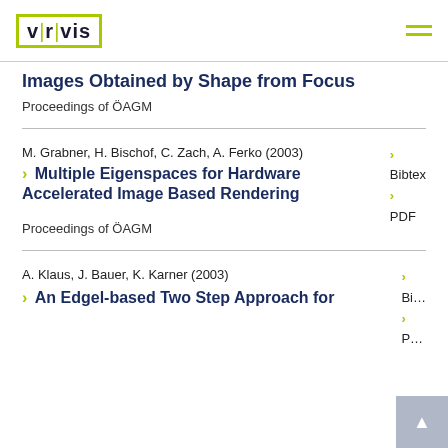VRVis logo and navigation header
Images Obtained by Shape from Focus
Proceedings of ÖAGM
M. Grabner, H. Bischof, C. Zach, A. Ferko (2003)
Multiple Eigenspaces for Hardware Accelerated Image Based Rendering
Proceedings of ÖAGM
A. Klaus, J. Bauer, K. Karner (2003)
An Edgel-based Two Step Approach for